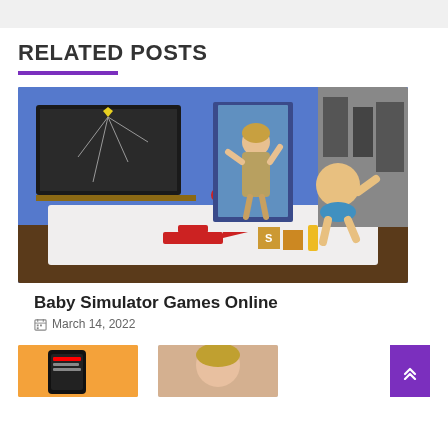RELATED POSTS
[Figure (screenshot): 3D animated baby simulator game scene showing a baby in a blue-walled bedroom with a broken TV, a woman character, toys including a red airplane and alphabet blocks]
Baby Simulator Games Online
March 14, 2022
[Figure (screenshot): Partial view of a mobile app/phone screenshot on orange background at bottom left]
[Figure (photo): Partial photo of a woman at bottom right]